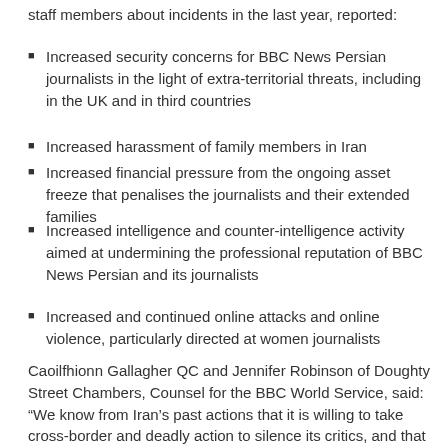staff members about incidents in the last year, reported:
Increased security concerns for BBC News Persian journalists in the light of extra-territorial threats, including in the UK and in third countries
Increased harassment of family members in Iran
Increased financial pressure from the ongoing asset freeze that penalises the journalists and their extended families
Increased intelligence and counter-intelligence activity aimed at undermining the professional reputation of BBC News Persian and its journalists
Increased and continued online attacks and online violence, particularly directed at women journalists
Caoilfhionn Gallagher QC and Jennifer Robinson of Doughty Street Chambers, Counsel for the BBC World Service, said: “We know from Iran’s past actions that it is willing to take cross-border and deadly action to silence its critics, and that it perceives independent journalism about Iran as a risk to its power.”